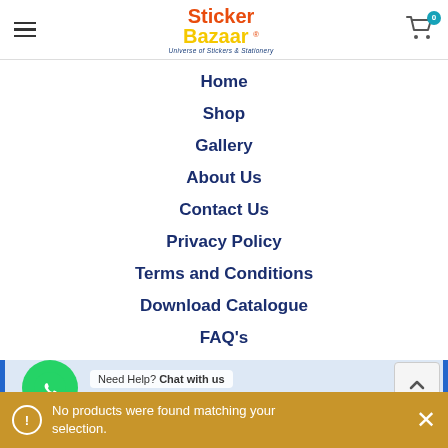Sticker Bazaar — Universe of Stickers & Stationery
Home
Shop
Gallery
About Us
Contact Us
Privacy Policy
Terms and Conditions
Download Catalogue
FAQ's
Need Help? Chat with us
Sign up to our Newsletter
No products were found matching your selection.